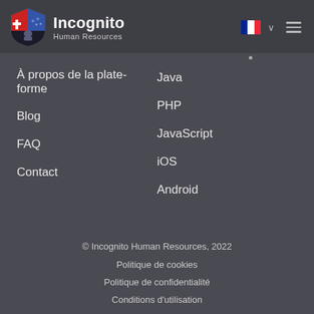Incognito Human Resources
À propos de la plate-forme
Java
Blog
PHP
FAQ
JavaScript
Contact
iOS
Android
© Incognito Human Resources, 2022
Politique de cookies
Politique de confidentialité
Conditions d'utilisation